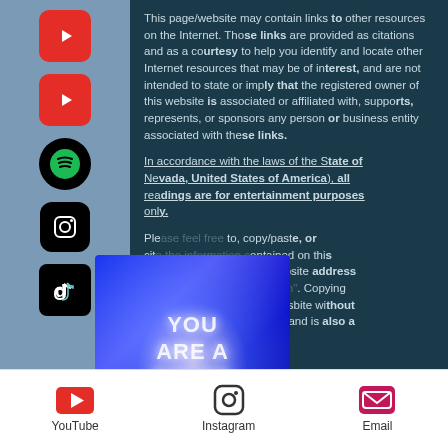This page/website may contain links to other resources on the Internet. Those links are provided as citations and as a courtesy to help you identify and locate other Internet resources that may be of interest, and are not intended to state or imply that the registered owner of this website is associated or affiliated with, supports, represents, or sponsors any person or business entity associated with these links.
In accordance with the laws of the State of Nevada, United States of America), all readings are for entertainment purposes only.
[Figure (illustration): Overlaid promotional image with angel wings and blue light burst, text reading 'YOU ARE A DIVINE HUMAN']
Please feel free to, copy/paste, or cite the information contained on this website. Please cite this website address and the name 'Matthew John'. Copying any information from this wesbite without citing the owner is unethical and is also a violation of copyright law.
YouTube  Instagram  Email